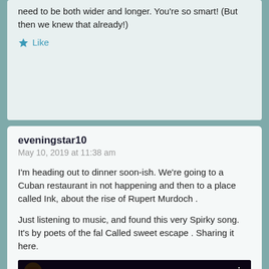need to be both wider and longer. You're so smart! (But then we knew that already!)
Like
eveningstar10
May 10, 2019 at 11:38 am
I'm heading out to dinner soon-ish. We're going to a Cuban restaurant in not happening and then to a place called Ink, about the rise of Rupert Murdoch .
Just listening to music, and found this very Spirky song. It's by poets of the fal Called sweet escape . Sharing it here.
[Figure (screenshot): YouTube video thumbnail showing Poets of the Fall - The S... with dark purple bokeh background and a person's silhouette, with red YouTube play button in center]